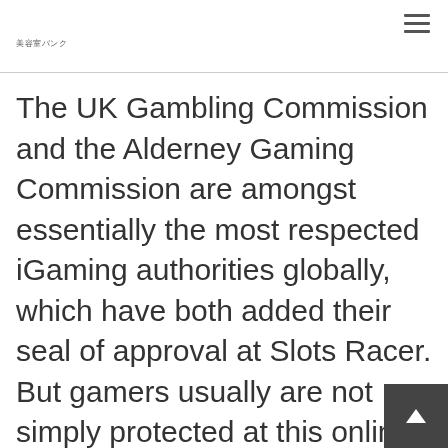美容室バンク
The UK Gambling Commission and the Alderney Gaming Commission are amongst essentially the most respected iGaming authorities globally, which have both added their seal of approval at Slots Racer. But gamers usually are not simply protected at this online on line casino, neither can they just get pleasure from numerous online slots. At a fundamental degree, that is tips on how to play online slots, although in 2021 many slots on-li